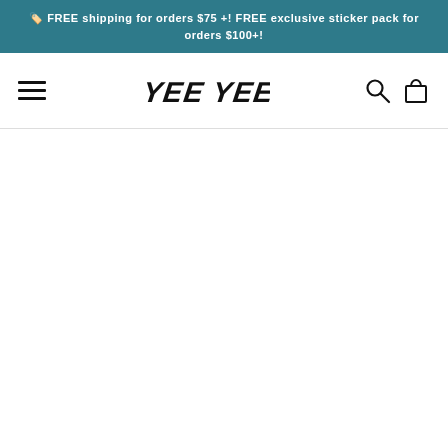🏷️ FREE shipping for orders $75 +! FREE exclusive sticker pack for orders $100+!
[Figure (logo): YeeYee brand logo in stylized handwritten script, black on white background, with hamburger menu on left and search/cart icons on right]